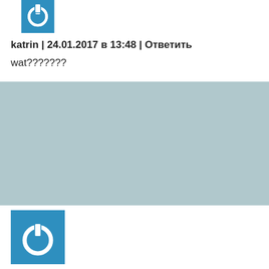[Figure (illustration): Blue square avatar with white power button icon (partially visible at top)]
katrin | 24.01.2017 в 13:48 | Ответить
wat???????
[Figure (illustration): Blue square avatar with white power button icon]
Katrin | 29.07.2018 в 16:42 | Ответить
Подскажите, разве артикль THE употребляют с существительными во множественном числе?
Упражнение 11. The bears ______ funny!
Как-то сразу доверие к вашему сайту